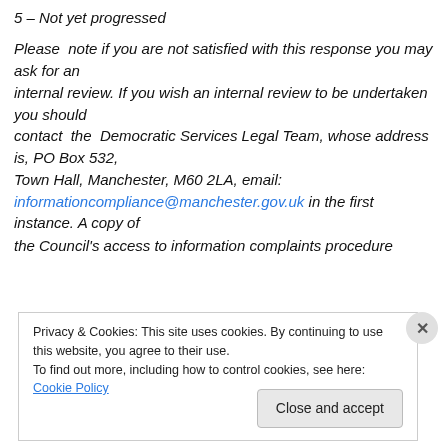5 – Not yet progressed
Please note if you are not satisfied with this response you may ask for an internal review. If you wish an internal review to be undertaken you should contact the Democratic Services Legal Team, whose address is, PO Box 532, Town Hall, Manchester, M60 2LA, email: informationcompliance@manchester.gov.uk in the first instance. A copy of the Council's access to information complaints procedure
Privacy & Cookies: This site uses cookies. By continuing to use this website, you agree to their use.
To find out more, including how to control cookies, see here: Cookie Policy
Close and accept